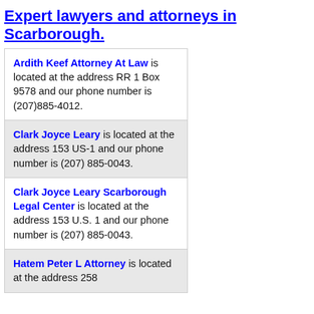Expert lawyers and attorneys in Scarborough.
Ardith Keef Attorney At Law is located at the address RR 1 Box 9578 and our phone number is (207)885-4012.
Clark Joyce Leary is located at the address 153 US-1 and our phone number is (207) 885-0043.
Clark Joyce Leary Scarborough Legal Center is located at the address 153 U.S. 1 and our phone number is (207) 885-0043.
Hatem Peter L Attorney is located at the address 258 US-1 and our phone number is...